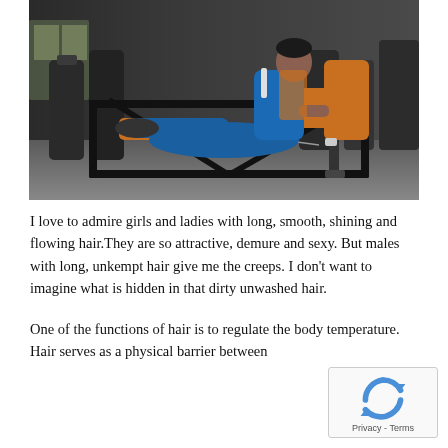[Figure (photo): A woman in blue athletic wear using a leg press machine in a modern gym with dark equipment in the background.]
I love to admire girls and ladies with long, smooth, shining and flowing hair.They are so attractive, demure and sexy. But males with long, unkempt hair give me the creeps. I don't want to imagine what is hidden in that dirty unwashed hair.
One of the functions of hair is to regulate the body temperature. Hair serves as a physical barrier between